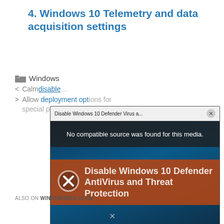4. Windows 10 Telemetry and data acquisition settings
Windows
< Calm disable…
> Allow deployment options for special profiles in Windows…
[Figure (screenshot): Video player popup showing 'Disable Windows 10 Defender Virus a...' with message 'No compatible source was found for this media.' and orange banner text 'Disable Windows 10 Defender AntiVirus and Threat Protection' with an X circle icon over a Windows 10 desktop background.]
ALSO ON WINDOWSBULLETIN